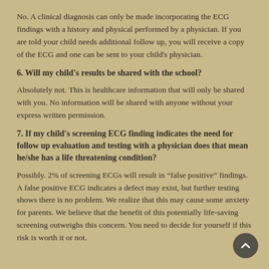No. A clinical diagnosis can only be made incorporating the ECG findings with a history and physical performed by a physician. If you are told your child needs additional follow up, you will receive a copy of the ECG and one can be sent to your child's physician.
6. Will my child's results be shared with the school?
Absolutely not. This is healthcare information that will only be shared with you. No information will be shared with anyone without your express written permission.
7. If my child's screening ECG finding indicates the need for follow up evaluation and testing with a physician does that mean he/she has a life threatening condition?
Possibly. 2% of screening ECGs will result in “false positive” findings. A false positive ECG indicates a defect may exist, but further testing shows there is no problem. We realize that this may cause some anxiety for parents. We believe that the benefit of this potentially life-saving screening outweighs this concern. You need to decide for yourself if this risk is worth it or not.